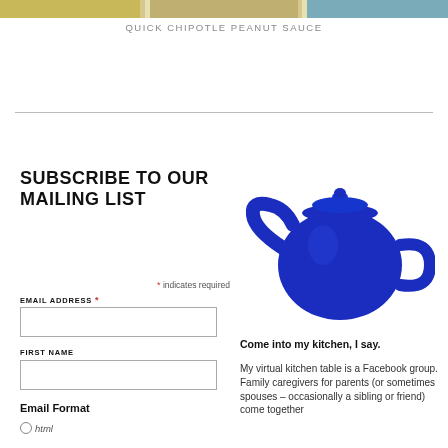[Figure (photo): Top portion of a food photo collage, partially cropped at the top of the page]
QUICK CHIPOTLE PEANUT SAUCE
SUBSCRIBE TO OUR MAILING LIST
[Figure (photo): Blue ceramic teapot on white background]
* indicates required
EMAIL ADDRESS *
FIRST NAME
Email Format
html
Come into my kitchen, I say.
My virtual kitchen table is a Facebook group. Family caregivers for parents (or sometimes spouses – occasionally a sibling or friend) come together